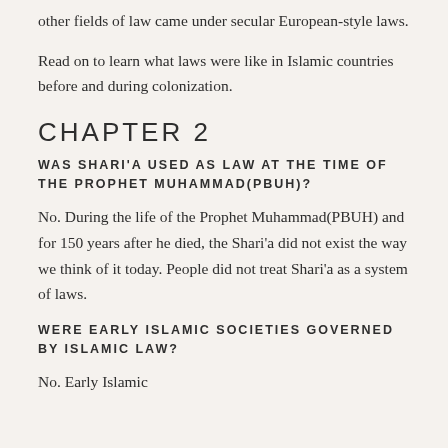other fields of law came under secular European-style laws.
Read on to learn what laws were like in Islamic countries before and during colonization.
CHAPTER 2
WAS SHARI'A USED AS LAW AT THE TIME OF THE PROPHET MUHAMMAD(PBUH)?
No. During the life of the Prophet Muhammad(PBUH) and for 150 years after he died, the Shari'a did not exist the way we think of it today. People did not treat Shari'a as a system of laws.
WERE EARLY ISLAMIC SOCIETIES GOVERNED BY ISLAMIC LAW?
No. Early Islamic…